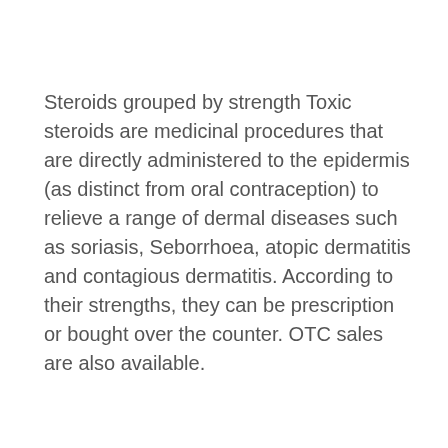Steroids grouped by strength Toxic steroids are medicinal procedures that are directly administered to the epidermis (as distinct from oral contraception) to relieve a range of dermal diseases such as soriasis, Seborrhoea, atopic dermatitis and contagious dermatitis. According to their strengths, they can be prescription or bought over the counter. OTC sales are also available.